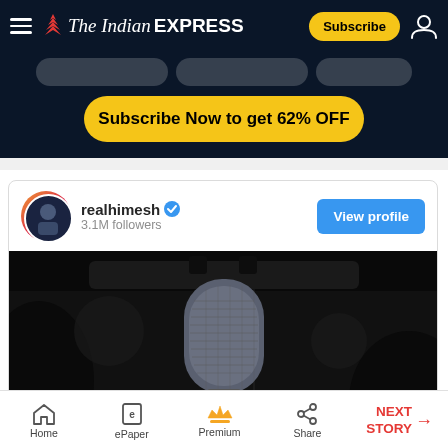The Indian Express — Subscribe — User icon
[Figure (screenshot): Subscribe Now to get 62% OFF banner on dark navy background with three subscription plan tabs]
[Figure (screenshot): Instagram embedded post card for realhimesh (3.1M followers, verified) with a View profile button and a video thumbnail showing a microphone in a dark studio setting with a play button]
Home | ePaper | Premium | Share | NEXT STORY